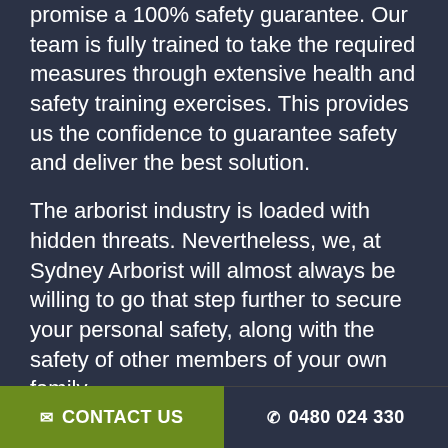promise a 100% safety guarantee. Our team is fully trained to take the required measures through extensive health and safety training exercises. This provides us the confidence to guarantee safety and deliver the best solution.
The arborist industry is loaded with hidden threats. Nevertheless, we, at Sydney Arborist will almost always be willing to go that step further to secure your personal safety, along with the safety of other members of your own family.
Our friendly team of tree surgeons will set your brain at ease and talk you through any safety problems you might be having. We will communicate with you about how exactly we intend handling your arborist Sydney task. You will be 100% content with our service...
✉ CONTACT US   ☎ 0480 024 330